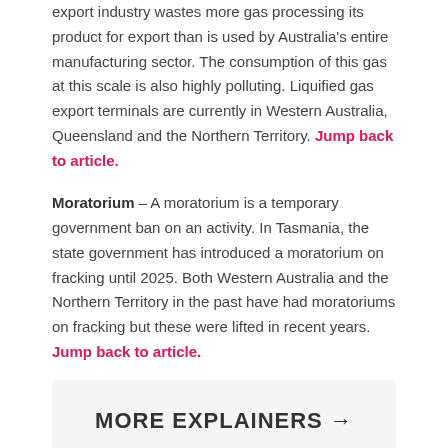export industry wastes more gas processing its product for export than is used by Australia's entire manufacturing sector. The consumption of this gas at this scale is also highly polluting. Liquified gas export terminals are currently in Western Australia, Queensland and the Northern Territory. Jump back to article.
Moratorium – A moratorium is a temporary government ban on an activity. In Tasmania, the state government has introduced a moratorium on fracking until 2025. Both Western Australia and the Northern Territory in the past have had moratoriums on fracking but these were lifted in recent years. Jump back to article.
MORE EXPLAINERS →